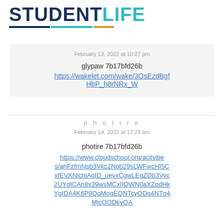[Figure (logo): Student Life logo with STUDENT in dark navy and LIFE in teal, with tri-color underline (navy, teal, orange)]
February 13, 2022 at 10:27 pm
glypaw 7b17bfd26b
https://wakelet.com/wake/3OsEzdBgfHbP_h8rNRx_W
p h o t i r e
February 14, 2022 at 12:23 am
photire 7b17bfd26b
https://www.cloudschool.org/activities/ahFzfmNsb3Vkc2Nob29sLWFwcHI5CxIEVXNlchiAgID_uevxCgwLEgZDb3Vyc2UYgICAn8v39wsMCxIIQWN0aXZpdHkYgIDA4K6P8QoMogEQNTcyODg4NTg4MjcOODkyOA